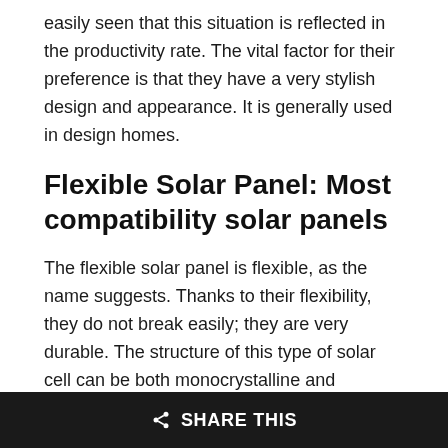easily seen that this situation is reflected in the productivity rate. The vital factor for their preference is that they have a very stylish design and appearance. It is generally used in design homes.
Flexible Solar Panel: Most compatibility solar panels
The flexible solar panel is flexible, as the name suggests. Thanks to their flexibility, they do not break easily; they are very durable. The structure of this type of solar cell can be both monocrystalline and polycrystalline. In other words, energy efficiency can vary according to its type.
They are very light because these panels do not have an aluminum frame and tempered glass. They are ideal panels for homes that do not have a flat roof; the roof you
SHARE THIS